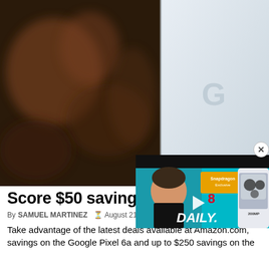[Figure (photo): Split hero image: left half shows a blurry dark/warm-toned background scene, right half shows a white Google Pixel 6a smartphone with the Google 'G' logo visible on the back.]
[Figure (screenshot): Video player overlay in lower right showing a tech YouTube video thumbnail: a man in black shirt, Snapdragon Exclusive logo, a white smartphone with large camera module, text 'DAILY.' and a play button arrow.]
Score $50 savings
By SAMUEL MARTINEZ  August 21, 2022, 4:18 pm
Take advantage of the latest deals available at Amazon.com, savings on the Google Pixel 6a and up to $250 savings on the